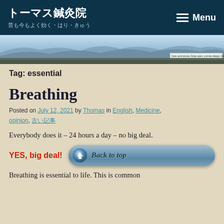トーマス鍼灸院 昔も今もよく効く・はり・きゅう
[Figure (photo): Mountain landscape panorama with blue sky and distant mountains, banner image]
Tag: essential
Breathing
Posted on July 12, 2021 by Thomas in English, Medicine, opinion, 古い記事
Everybody does it – 24 hours a day – no big deal.
YES, big deal!
Breathing is essential to life. This is common